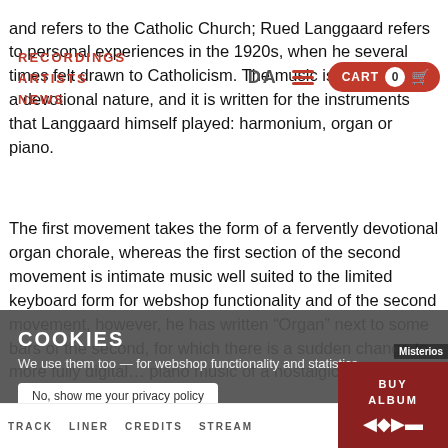RECORDINGS ARTISTS NEWS | DA | CART 0
and refers to the Catholic Church; Rued Langgaard refers to personal experiences in the 1920s, when he several times felt drawn to Catholicism. The music is almost all of a devotional nature, and it is written for the instruments that Langgaard himself played: harmonium, organ or piano.
The first movement takes the form of a fervently devotional organ chorale, whereas the first section of the second movement is intimate music well suited to the limited keyboard harmony form for webshop functionality and of the second movement, however, he has written "Organ" next to some bars of the second, for which there is a sudden change to more fully digital piano music of a nostalgic —...
COOKIES
We use them too — for webshop functionality and statistics.
No, show me your privacy policy
OK, FINE BY ME
NO, THANKS
TRACK  LINER  CREDITS  STREAM  BUY ALBUM
Misterios